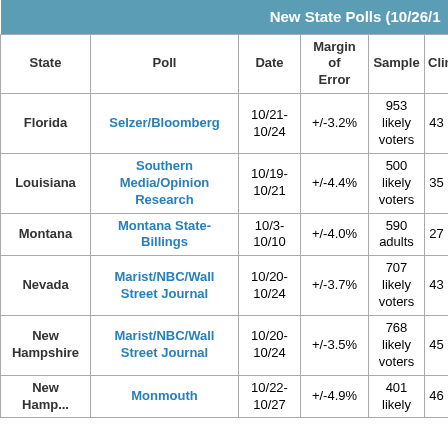| State | Poll | Date | Margin of Error | Sample | Clinton |
| --- | --- | --- | --- | --- | --- |
| Florida | Selzer/Bloomberg | 10/21-10/24 | +/-3.2% | 953 likely voters | 43 |
| Louisiana | Southern Media/Opinion Research | 10/19-10/21 | +/-4.4% | 500 likely voters | 35 |
| Montana | Montana State-Billings | 10/3-10/10 | +/-4.0% | 590 adults | 27 |
| Nevada | Marist/NBC/Wall Street Journal | 10/20-10/24 | +/-3.7% | 707 likely voters | 43 |
| New Hampshire | Marist/NBC/Wall Street Journal | 10/20-10/24 | +/-3.5% | 768 likely voters | 45 |
| New Hampshire | Monmouth | 10/22-10/27 | +/-4.9% | 401 likely | 46 |